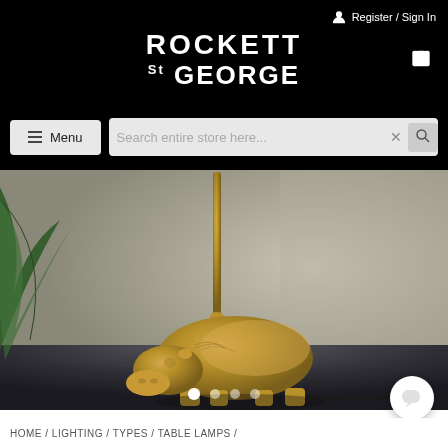Register / Sign In
ROCKETT St GEORGE
[Figure (screenshot): Navigation bar with hamburger Menu button and Search entire store here... search field with X and magnifier icons]
[Figure (photo): Hero product photo of a gold hippo-shaped table lamp base on a dark marble surface, with green tropical leaves visible on the left, against a muted grey-beige background]
[Figure (other): Slider pagination dots (4 dots, first active/white) and chat bubble icon bottom right]
HOME / LIGHTING / TYPES / TABLE LAMPS /